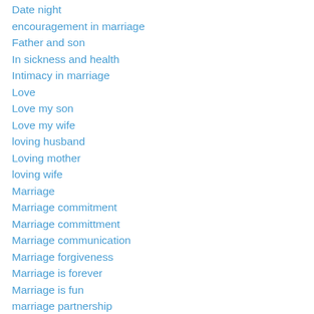Date night
encouragement in marriage
Father and son
In sickness and health
Intimacy in marriage
Love
Love my son
Love my wife
loving husband
Loving mother
loving wife
Marriage
Marriage commitment
Marriage committment
Marriage communication
Marriage forgiveness
Marriage is forever
Marriage is fun
marriage partnership
marriage takes work